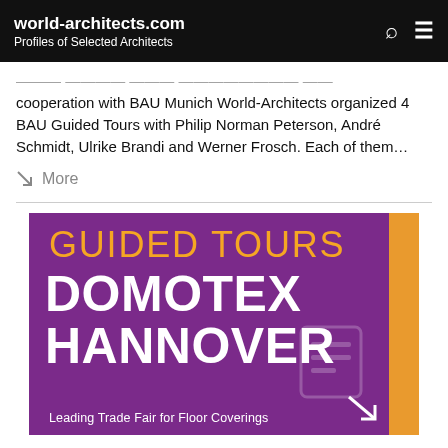world-architects.com
Profiles of Selected Architects
cooperation with BAU Munich World-Architects organized 4 BAU Guided Tours with Philip Norman Peterson, André Schmidt, Ulrike Brandi and Werner Frosch. Each of them…
More
[Figure (illustration): Purple banner image for Guided Tours Domotex Hannover — Leading Trade Fair for Floor Coverings. Orange text 'GUIDED TOURS', white text 'DOMOTEX HANNOVER', subtitle 'Leading Trade Fair for Floor Coverings', orange bar on right edge, decorative arrow.]